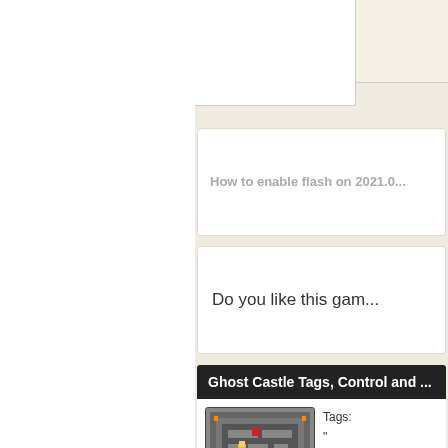How to enable flash on 2021.0...
Do you like this gam...
Ghost Castle Tags, Control and ...
[Figure (screenshot): Ghost Castle game screenshot showing a dungeon maze with characters]
Tags: " mov "